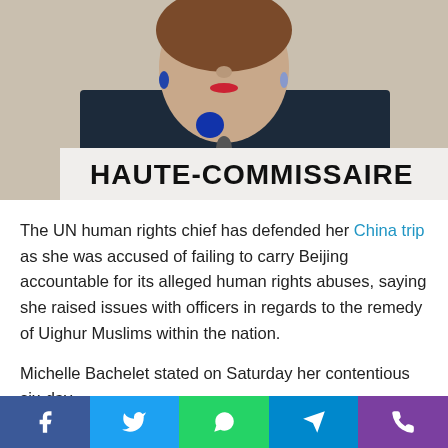[Figure (photo): Woman speaking at a podium with a placard reading HAUTE-COMMISSAIRE, wearing a dark blue top and blue necklace, with earrings.]
The UN human rights chief has defended her China trip as she was accused of failing to carry Beijing accountable for its alleged human rights abuses, saying she raised issues with officers in regards to the remedy of Uighur Muslims within the nation.
Michelle Bachelet stated on Saturday her contentious six-day
[Figure (infographic): Social sharing bar with Facebook, Twitter, WhatsApp, Telegram, and Phone icons]